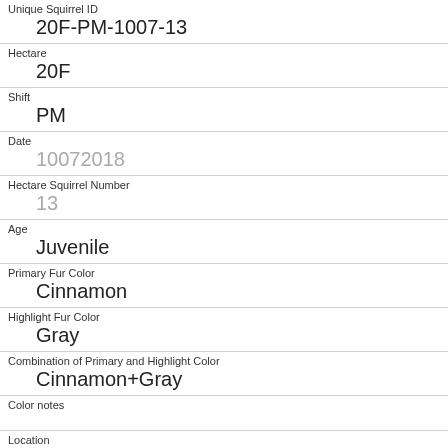| Field | Value |
| --- | --- |
| Unique Squirrel ID | 20F-PM-1007-13 |
| Hectare | 20F |
| Shift | PM |
| Date | 10072018 |
| Hectare Squirrel Number | 13 |
| Age | Juvenile |
| Primary Fur Color | Cinnamon |
| Highlight Fur Color | Gray |
| Combination of Primary and Highlight Color | Cinnamon+Gray |
| Color notes |  |
| Location |  |